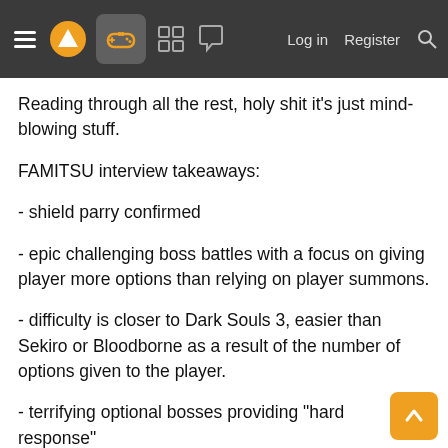≡  [logo]  [controller icon]  [grid icon]  [chat icon]    Log in   Register  🔍
Reading through all the rest, holy shit it's just mind-blowing stuff.
FAMITSU interview takeaways:
- shield parry confirmed
- epic challenging boss battles with a focus on giving player more options than relying on player summons.
- difficulty is closer to Dark Souls 3, easier than Sekiro or Bloodborne as a result of the number of options given to the player.
- terrifying optional bosses providing "hard response"
- less dying to gravity, fall damage lowered to encourage exploration